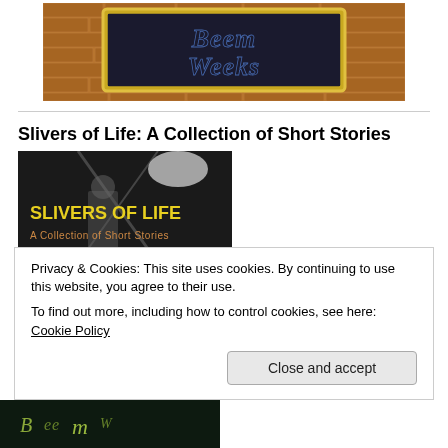[Figure (photo): Header image showing a brick wall background with a gold-framed sign reading 'Beem Weeks' in stylized cursive lettering]
Slivers of Life: A Collection of Short Stories
[Figure (photo): Book cover image for 'Slivers of Life: A Collection of Short Stories' showing a dark background with figures and yellow/gold title text]
Privacy & Cookies: This site uses cookies. By continuing to use this website, you agree to their use.
To find out more, including how to control cookies, see here: Cookie Policy
[Figure (photo): Partial bottom strip showing another book cover with cursive text on dark background]